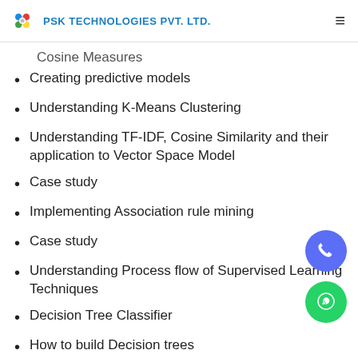PSK TECHNOLOGIES PVT. LTD.
Cosine Measures
Creating predictive models
Understanding K-Means Clustering
Understanding TF-IDF, Cosine Similarity and their application to Vector Space Model
Case study
Implementing Association rule mining
Case study
Understanding Process flow of Supervised Learning Techniques
Decision Tree Classifier
How to build Decision trees